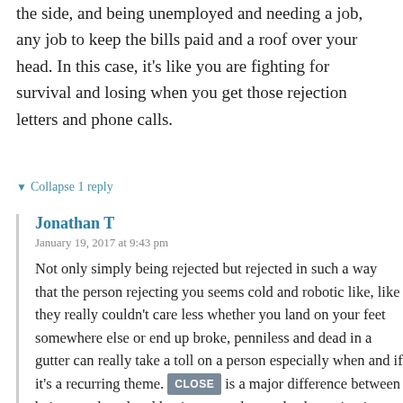the side, and being unemployed and needing a job, any job to keep the bills paid and a roof over your head. In this case, it's like you are fighting for survival and losing when you get those rejection letters and phone calls.
▼ Collapse 1 reply
Jonathan T
January 19, 2017 at 9:43 pm
Not only simply being rejected but rejected in such a way that the person rejecting you seems cold and robotic like, like they really couldn't care less whether you land on your feet somewhere else or end up broke, penniless and dead in a gutter can really take a toll on a person especially when and if it's a recurring theme. There is a major difference between being employed and having a steady paycheck coming in while looking for better jobs